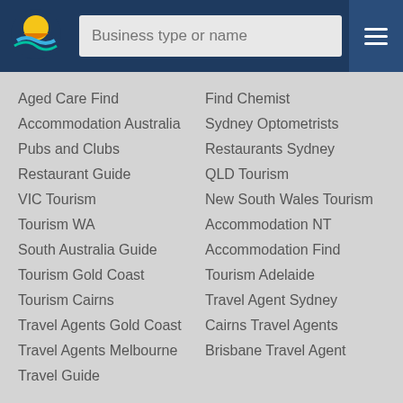[Figure (logo): Stylized sun and wave logo on dark blue background]
Aged Care Find
Accommodation Australia
Pubs and Clubs
Restaurant Guide
VIC Tourism
Tourism WA
South Australia Guide
Tourism Gold Coast
Tourism Cairns
Travel Agents Gold Coast
Travel Agents Melbourne
Travel Guide
Find Chemist
Sydney Optometrists
Restaurants Sydney
QLD Tourism
New South Wales Tourism
Accommodation NT
Accommodation Find
Tourism Adelaide
Travel Agent Sydney
Cairns Travel Agents
Brisbane Travel Agent
Cities
New South Wales
Victoria